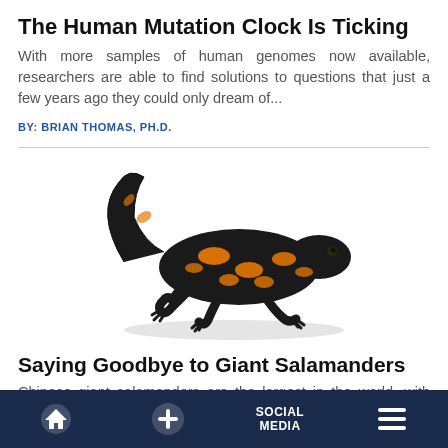The Human Mutation Clock Is Ticking
With more samples of human genomes now available, researchers are able to find solutions to questions that just a few years ago they could only dream of...
BY: BRIAN THOMAS, PH.D.
[Figure (photo): A fire salamander (black with orange/yellow spots) viewed from above against a white background]
Saying Goodbye to Giant Salamanders
Chinese giant salamanders are the largest in the world, with some in recent history growing as long as six feet. Lately, however, this unique amphibian...
Home | + | SOCIAL MEDIA | Menu